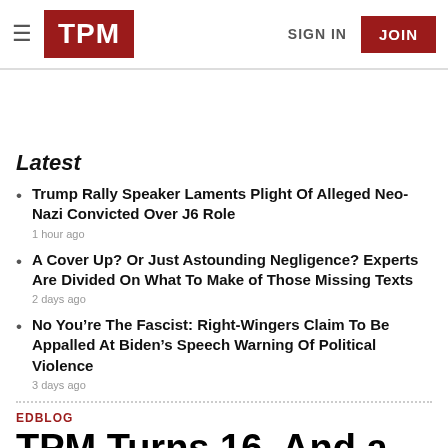TPM | SIGN IN | JOIN
Latest
Trump Rally Speaker Laments Plight Of Alleged Neo-Nazi Convicted Over J6 Role
1 hour ago
A Cover Up? Or Just Astounding Negligence? Experts Are Divided On What To Make of Those Missing Texts
2 days ago
No You're The Fascist: Right-Wingers Claim To Be Appalled At Biden's Speech Warning Of Political Violence
3 days ago
EDBLOG
TPM Turns 16. And a Pledge